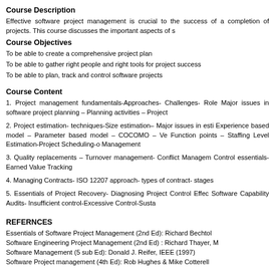Course Description
Effective software project management is crucial to the success of a completion of projects. This course discusses the important aspects of s
Course Objectives
To be able to create a comprehensive project plan
To be able to gather right people and right tools for project success
To be able to plan, track and control software projects
Course Content
1. Project management fundamentals-Approaches- Challenges- Role Major issues in software project planning – Planning activities – Project
2. Project estimation- techniques-Size estimation– Major issues in esti Experience based model – Parameter based model – COCOMO – Ve Function points – Staffing Level Estimation-Project Scheduling-o Management
3. Quality replacements – Turnover management- Conflict Managem Control essentials- Earned Value Tracking
4. Managing Contracts- ISO 12207 approach- types of contract- stages
5. Essentials of Project Recovery- Diagnosing Project Control Effec Software Capability Audits- Insufficient control-Excessive Control-Susta
REFERNCES
Essentials of Software Project Management (2nd Ed): Richard Bechtol Software Engineering Project Management (2nd Ed) : Richard Thayer, M Software Management (5 sub Ed): Donald J. Reifer, IEEE (1997) Software Project management (4th Ed): Rob Hughes & Mike Cotterell